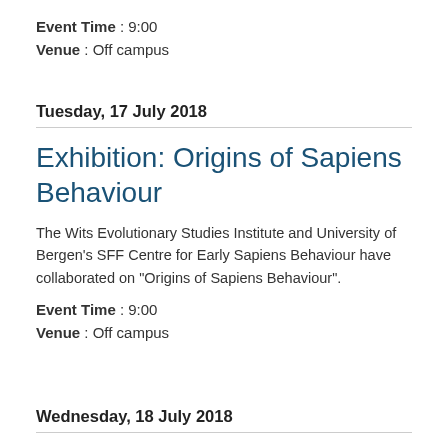Event Time : 9:00
Venue : Off campus
Tuesday, 17 July 2018
Exhibition: Origins of Sapiens Behaviour
The Wits Evolutionary Studies Institute and University of Bergen's SFF Centre for Early Sapiens Behaviour have collaborated on "Origins of Sapiens Behaviour".
Event Time : 9:00
Venue : Off campus
Wednesday, 18 July 2018